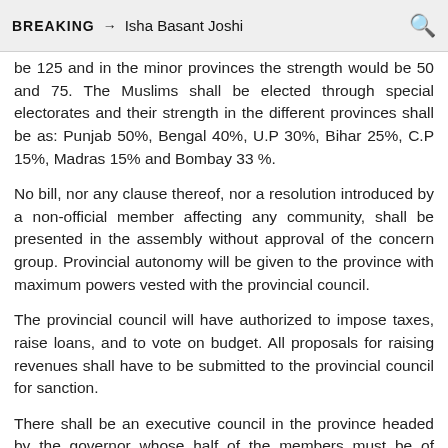BREAKING → Isha Basant Joshi
be 125 and in the minor provinces the strength would be 50 and 75. The Muslims shall be elected through special electorates and their strength in the different provinces shall be as: Punjab 50%, Bengal 40%, U.P 30%, Bihar 25%, C.P 15%, Madras 15% and Bombay 33 %.
No bill, nor any clause thereof, nor a resolution introduced by a non-official member affecting any community, shall be presented in the assembly without approval of the concern group. Provincial autonomy will be given to the province with maximum powers vested with the provincial council.
The provincial council will have authorized to impose taxes, raise loans, and to vote on budget. All proposals for raising revenues shall have to be submitted to the provincial council for sanction.
There shall be an executive council in the province headed by the governor whose half of the members must be of Indian nationality, elected by the elected members of the legislative council, their term of office being five years.
The...